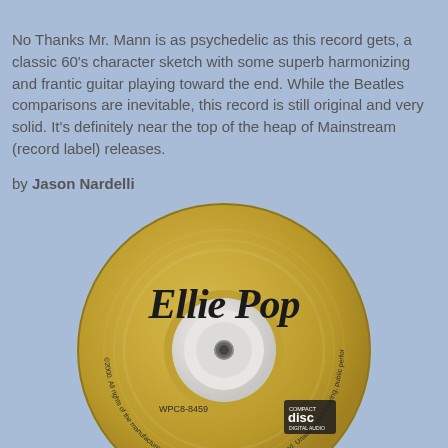No Thanks Mr. Mann is as psychedelic as this record gets, a classic 60's character sketch with some superb harmonizing and frantic guitar playing toward the end. While the Beatles comparisons are inevitable, this record is still original and very solid. It's definitely near the top of the heap of Mainstream (record label) releases.
by Jason Nardelli
[Figure (photo): A gold CD disc labeled 'Ellie Pop' with cursive script text, catalog number WPC8-8459, and a Compact Disc Digital Audio logo on the right side. The disc has a white center hub area.]